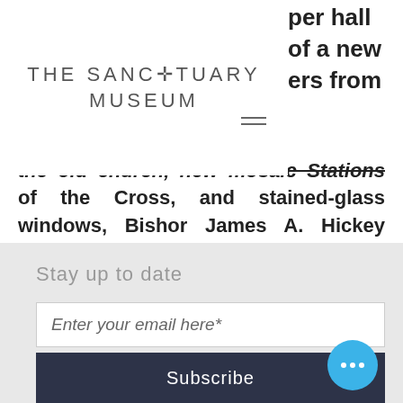[Figure (logo): The Sanctuary Museum logo with cross icon in the letter T]
per hall of a new ers from the old church, new mosaic Stations of the Cross, and stained-glass windows, Bishop James A. Hickey rededicated the building on June 1, 1975. In the last two decades, the St. Hedwig Parish has continued in the spiritual and communal tradition of its founding families, while becoming an increasingly diverse faith community.
Stay up to date
Enter your email here*
Subscribe